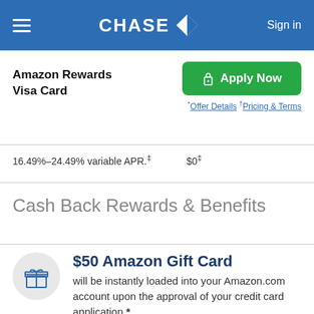CHASE  Sign in
Amazon Rewards Visa Card
Apply Now
*Offer Details †Pricing & Terms
16.49%–24.49% variable APR.‡  $0‡
Cash Back Rewards & Benefits
$50 Amazon Gift Card will be instantly loaded into your Amazon.com account upon the approval of your credit card application.*